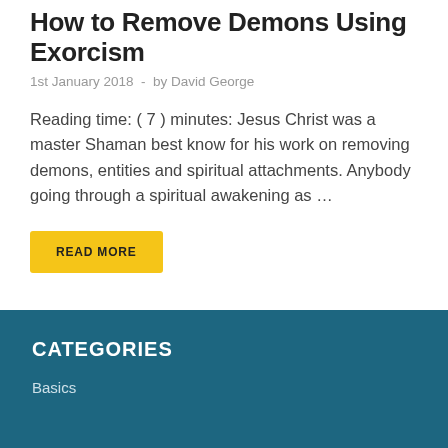How to Remove Demons Using Exorcism
1st January 2018  -  by David George
Reading time: ( 7 ) minutes: Jesus Christ was a master Shaman best know for his work on removing demons, entities and spiritual attachments. Anybody going through a spiritual awakening as …
READ MORE
CATEGORIES
Basics